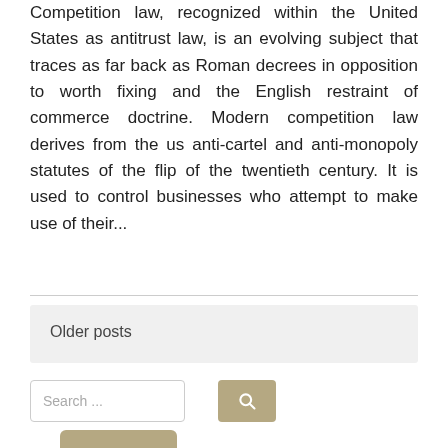Competition law, recognized within the United States as antitrust law, is an evolving subject that traces as far back as Roman decrees in opposition to worth fixing and the English restraint of commerce doctrine. Modern competition law derives from the us anti-cartel and anti-monopoly statutes of the flip of the twentieth century. It is used to control businesses who attempt to make use of their...
Read More
Older posts
Search ...